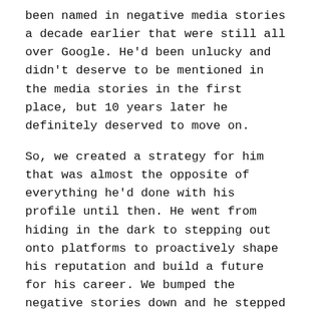been named in negative media stories a decade earlier that were still all over Google. He'd been unlucky and didn't deserve to be mentioned in the media stories in the first place, but 10 years later he definitely deserved to move on.
So, we created a strategy for him that was almost the opposite of everything he'd done with his profile until then. He went from hiding in the dark to stepping out onto platforms to proactively shape his reputation and build a future for his career. We bumped the negative stories down and he stepped up, moving into roles that had been out of reach for him until then.
Now, I work with business leaders so that they position themselves as experts from the start